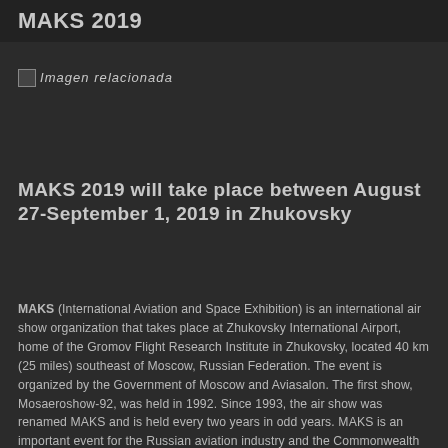MAKS 2019
[Figure (photo): Broken/unloaded image placeholder labeled 'Imagen relacionada']
MAKS 2019 will take place between August 27-September 1, 2019 in Zhukovsky
MAKS (International Aviation and Space Exhibition) is an international air show organization that takes place at Zhukovsky International Airport, home of the Gromov Flight Research Institute in Zhukovsky, located 40 km (25 miles) southeast of Moscow, Russian Federation. The event is organized by the Government of Moscow and Aviasalon. The first show, Mosaeroshow-92, was held in 1992. Since 1993, the air show was renamed MAKS and is held every two years in odd years. MAKS is an important event for the Russian aviation industry and the Commonwealth of Independent States (CIS). Although it started primarily as an entertainment event, the program soon became a